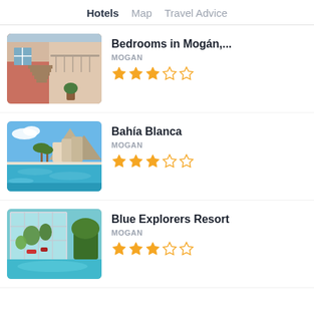Hotels   Map   Travel Advice
Bedrooms in Mogán,...
MOGAN
★★★☆☆
Bahía Blanca
MOGAN
★★★☆☆
Blue Explorers Resort
MOGAN
★★★☆☆